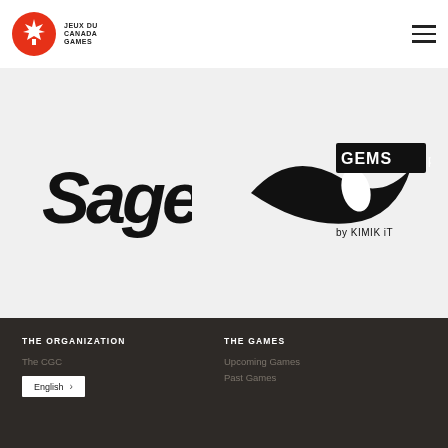[Figure (logo): Canada Games / Jeux du Canada Games logo — red maple leaf circle with bold text JEUX DU CANADA GAMES]
[Figure (logo): Sage logo in black stylized lettering]
[Figure (logo): GEMS pro by KIMIK iT logo in black]
THE ORGANIZATION
The CGC
THE GAMES
Upcoming Games
Past Games
English